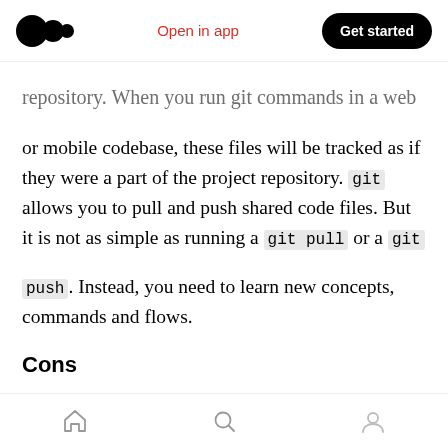Medium logo | Open in app | Get started
repository. When you run git commands in a web or mobile codebase, these files will be tracked as if they were a part of the project repository. git allows you to pull and push shared code files. But it is not as simple as running a git pull or a git push. Instead, you need to learn new concepts, commands and flows.
Cons
Let us start with the cons first. Both of these approaches will make your normal git workflow very complex. You'll probably need to
home | search | profile